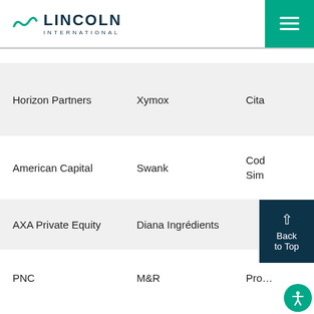[Figure (logo): Lincoln International logo with teal wave icon and dark navy text]
| Column1 | Column2 | Column3 |
| --- | --- | --- |
| Horizon Partners | Xymox | Cita… |
| American Capital | Swank | Cod… Sim… |
| AXA Private Equity | Diana Ingrédients |  |
| PNC | M&R | Pro… |
| Hercules Fiber II | Thermafiber | Altu… |